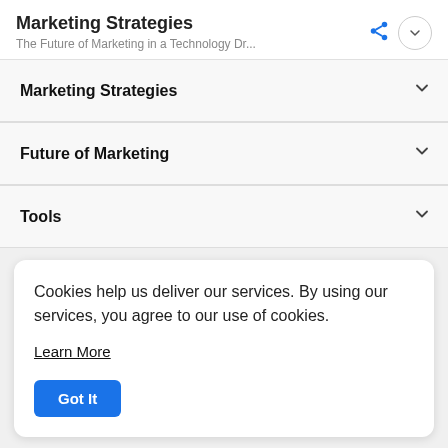Marketing Strategies
The Future of Marketing in a Technology Dr...
Marketing Strategies
Future of Marketing
Tools
Cookies help us deliver our services. By using our services, you agree to our use of cookies.
Learn More
Got It
Follow Us